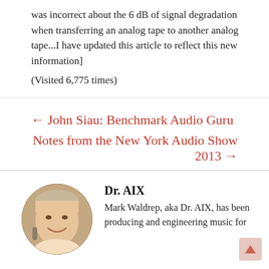was incorrect about the 6 dB of signal degradation when transferring an analog tape to another analog tape...I have updated this article to reflect this new information]
(Visited 6,775 times)
← John Siau: Benchmark Audio Guru
Notes from the New York Audio Show 2013 →
Dr. AIX
Mark Waldrep, aka Dr. AIX, has been producing and engineering music for
[Figure (photo): Circular headshot photo of a middle-aged man smiling, wearing a light-colored shirt, with a microphone visible in the background.]